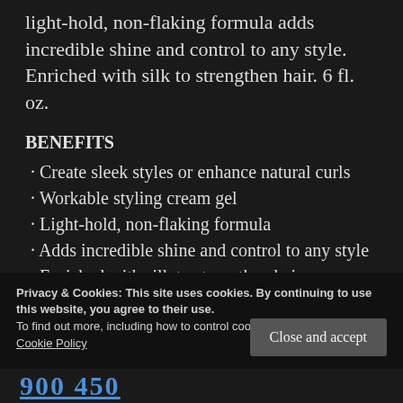light-hold, non-flaking formula adds incredible shine and control to any style. Enriched with silk to strengthen hair. 6 fl. oz.
BENEFITS
· Create sleek styles or enhance natural curls
· Workable styling cream gel
· Light-hold, non-flaking formula
· Adds incredible shine and control to any style
· Enriched with silk to strengthen hair
Privacy & Cookies: This site uses cookies. By continuing to use this website, you agree to their use.
To find out more, including how to control cookies, see here: Cookie Policy
900 450